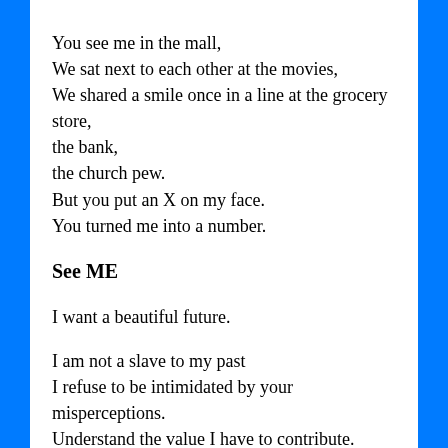You see me in the mall,
We sat next to each other at the movies,
We shared a smile once in a line at the grocery store,
the bank,
the church pew.
But you put an X on my face.
You turned me into a number.
See ME
I want a beautiful future.
I am not a slave to my past
I refuse to be intimidated by your misperceptions.
Understand the value I have to contribute.
Do not be paralyzed by data,
I am real, not numbers.